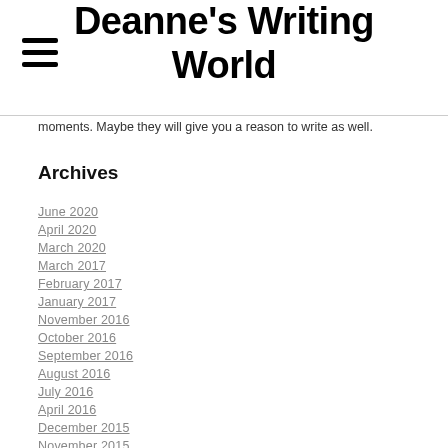Deanne's Writing World
moments. Maybe they will give you a reason to write as well.
Archives
June 2020
April 2020
March 2020
March 2017
February 2017
January 2017
November 2016
October 2016
September 2016
August 2016
July 2016
April 2016
December 2015
November 2015
October 2015